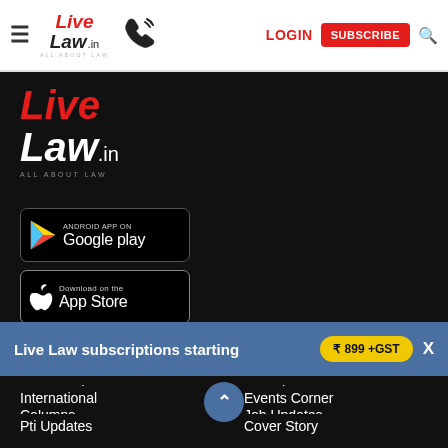[Figure (screenshot): LiveLaw.in website header with hamburger menu, logo, phone icon, LOGIN button, SUBSCRIBE button, and search icon]
[Figure (logo): LiveLaw.in logo in large red and white text on dark background with tagline ALL ABOUT LAW]
[Figure (other): Android App on Google Play badge]
[Figure (other): Download on the App Store badge]
Top Stories
Know the Law
News Update
Law Firms
Columns
Job Updates
[Figure (other): Blue circular up-arrow button]
Live Law subscriptions starting ₹ 899 +GST
International
Events Corner
Pti Updates
Cover Story